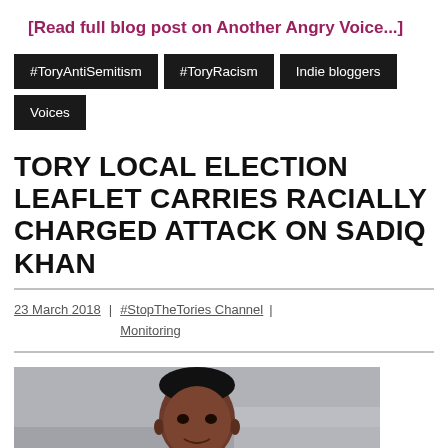[Read full blog post on Another Angry Voice...]
#ToryAntiSemitism
#ToryRacism
Indie bloggers
Voices
TORY LOCAL ELECTION LEAFLET CARRIES RACIALLY CHARGED ATTACK ON SADIQ KHAN
23 March 2018 | #StopTheTories Channel Monitoring |
[Figure (photo): Photo of Sadiq Khan, a man in a suit, photographed outdoors with an urban background including a yellow vehicle]